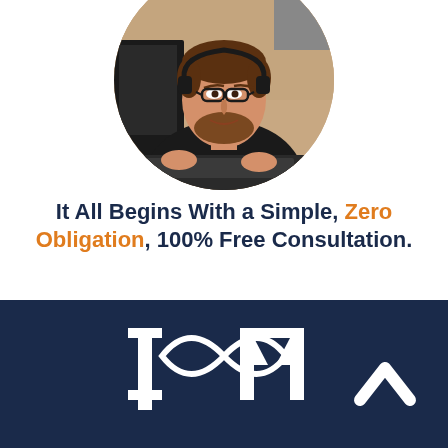[Figure (photo): Circular cropped photo of a man wearing glasses and a black polo shirt with a headset, working at a computer/keyboard.]
It All Begins With a Simple, Zero Obligation, 100% Free Consultation.
SCHEDULE A FREE CONSULTATION
[Figure (logo): Partial view of dark navy background with white ISM logo at the bottom of the page, partially cropped.]